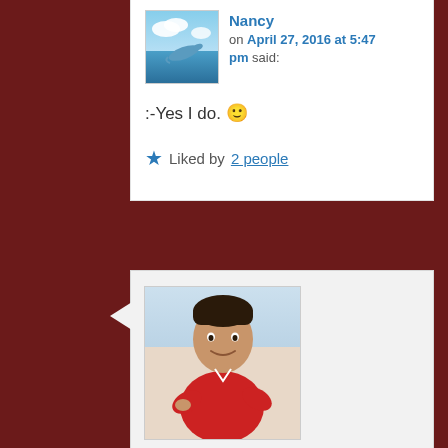Nancy on April 27, 2016 at 5:47 pm said:
:-Yes I do. 🙂
★ Liked by 2 people
[Figure (photo): Avatar photo of Suyog Chhatre - man in red polo shirt]
Suyog Chhatre on April 27, 2016 at 1:21 am said:
Here is my new post
https://wordpress.com/read/feeds/47223524/posts/1008386590